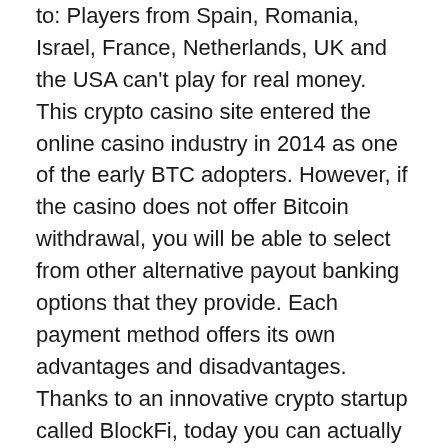to: Players from Spain, Romania, Israel, France, Netherlands, UK and the USA can't play for real money. This crypto casino site entered the online casino industry in 2014 as one of the early BTC adopters. However, if the casino does not offer Bitcoin withdrawal, you will be able to select from other alternative payout banking options that they provide. Each payment method offers its own advantages and disadvantages. Thanks to an innovative crypto startup called BlockFi, today you can actually put your crypto holdings to work earning up to 8. Such is the reputation of eSports that they will likely feature in the Olympic Games one day. If you are new to the site, the welcome bonus is for you: a 100% match up to 5BTC. We don't feel the need to additionally elaborate on how secure it is. A brand new member of the online gambling world, Moonsino has started contending for gamers' attention this year. Still, the cashout might take a couple of hours, depending on the traffic. Provably fair is a concept that allows bettors to have peace of mind when